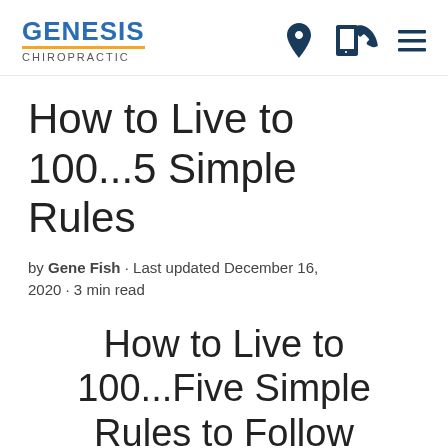GENESIS CHIROPRACTIC
How to Live to 100...5 Simple Rules
by Gene Fish · Last updated December 16, 2020 · 3 min read
How to Live to 100...Five Simple Rules to Follow